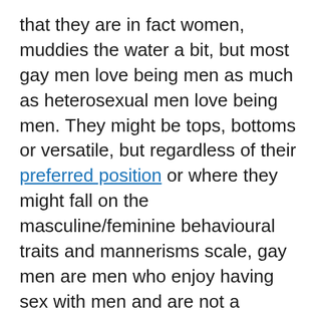that they are in fact women, muddies the water a bit, but most gay men love being men as much as heterosexual men love being men. They might be tops, bottoms or versatile, but regardless of their preferred position or where they might fall on the masculine/feminine behavioural traits and mannerisms scale, gay men are men who enjoy having sex with men and are not a transitional form or in-between designation of the heterosexual man and the transexual woman. There are trans women who while born male were attracted to females and make the transition to female, their attraction to other